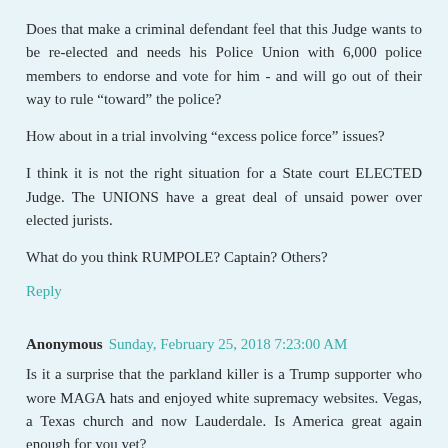Does that make a criminal defendant feel that this Judge wants to be re-elected and needs his Police Union with 6,000 police members to endorse and vote for him - and will go out of their way to rule “toward” the police?
How about in a trial involving “excess police force” issues?
I think it is not the right situation for a State court ELECTED Judge. The UNIONS have a great deal of unsaid power over elected jurists.
What do you think RUMPOLE? Captain? Others?
Reply
Anonymous Sunday, February 25, 2018 7:23:00 AM
Is it a surprise that the parkland killer is a Trump supporter who wore MAGA hats and enjoyed white supremacy websites. Vegas, a Texas church and now Lauderdale. Is America great again enough for you yet?